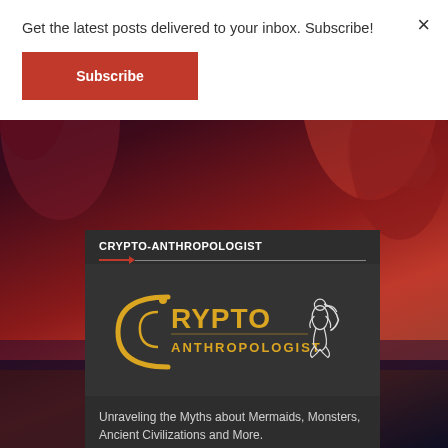Get the latest posts delivered to your inbox. Subscribe!
Subscribe
[Figure (screenshot): Background scene with red and purple sunset sky over dark water]
CRYPTO-ANTHROPOLOGIST
[Figure (logo): Crypto-Anthropologist logo with yellow letter C and mermaid figure in white]
Unraveling the Myths about Mermaids, Monsters, Ancient Civilizations and More.
DONATE
This website is available free of charge. If you enjoyed reading this blog, click below to donate towards site running costs :)